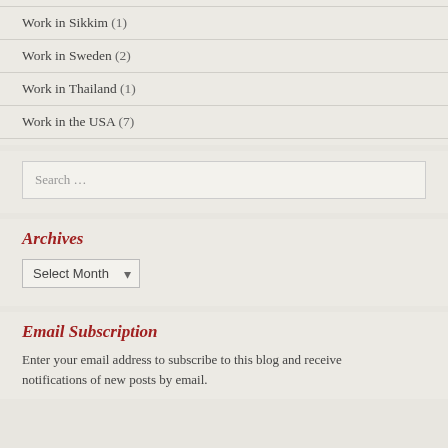Work in Sikkim (1)
Work in Sweden (2)
Work in Thailand (1)
Work in the USA (7)
Search …
Archives
Select Month
Email Subscription
Enter your email address to subscribe to this blog and receive notifications of new posts by email.